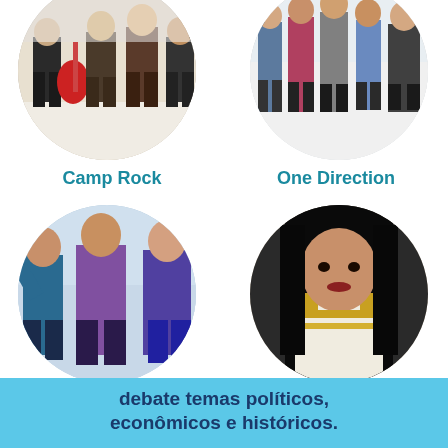[Figure (photo): Circular photo of Camp Rock band members playing instruments]
[Figure (photo): Circular photo of One Direction band members standing together]
Camp Rock
One Direction
[Figure (photo): Circular photo of Jonas Brothers posing outdoors]
[Figure (photo): Circular photo of Nicki Minaj in white and gold outfit]
Jonas Brothers
Nicki Minaj
debate temas políticos, econômicos e históricos.